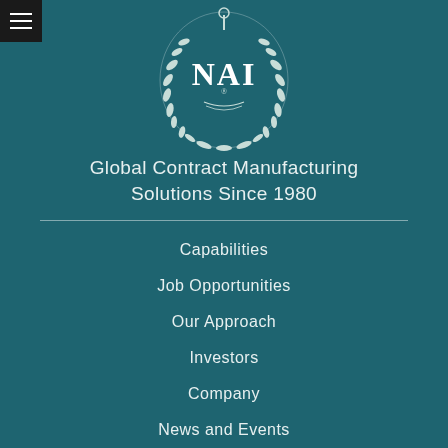[Figure (logo): NAI circular crest logo with laurel wreath and caduceus symbol in white on teal background]
Global Contract Manufacturing Solutions Since 1980
Capabilities
Job Opportunities
Our Approach
Investors
Company
News and Events
Contact Us